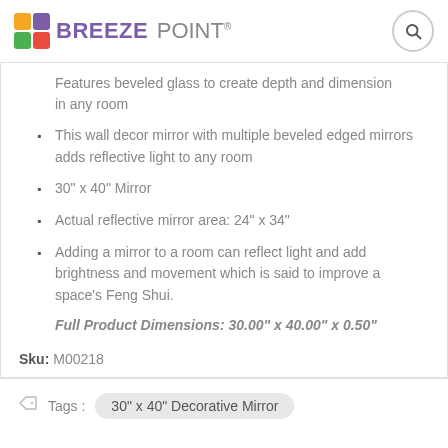BREEZE POINT
Features beveled glass to create depth and dimension in any room
This wall decor mirror with multiple beveled edged mirrors adds reflective light to any room
30" x 40" Mirror
Actual reflective mirror area: 24" x 34"
Adding a mirror to a room can reflect light and add brightness and movement which is said to improve a space's Feng Shui.
Full Product Dimensions: 30.00" x 40.00" x 0.50"
Sku: M00218
Tags : 30" x 40" Decorative Mirror